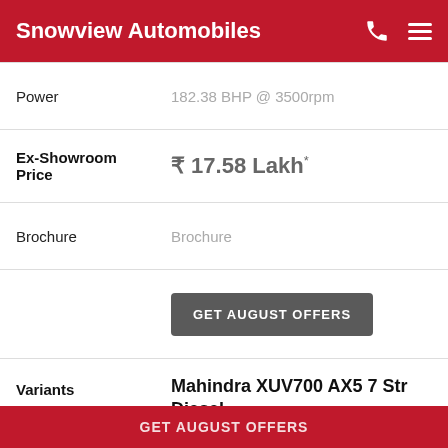Snowview Automobiles
| Label | Value |
| --- | --- |
| Power | 182.38 BHP @ 3500rpm |
| Ex-Showroom Price | ₹ 17.58 Lakh* |
| Brochure | Brochure |
|  | GET AUGUST OFFERS |
| Variants | Mahindra XUV700 AX5 7 Str Diesel | Diesel |
| Transmission | Manual |
GET AUGUST OFFERS